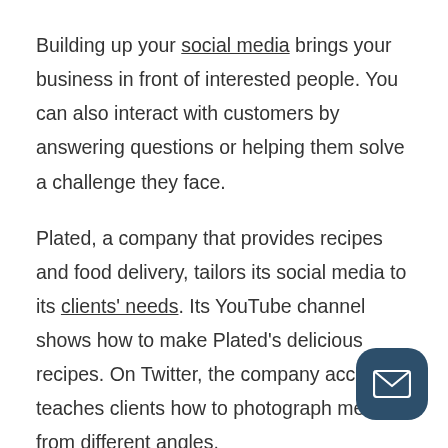Building up your social media brings your business in front of interested people. You can also interact with customers by answering questions or helping them solve a challenge they face.
Plated, a company that provides recipes and food delivery, tailors its social media to its clients' needs. Its YouTube channel shows how to make Plated's delicious recipes. On Twitter, the company account teaches clients how to photograph meals from different angles.
How can you build a strong social media presence? Find the channels that your customers and industry are on. Use the right tone for your audience. For example, people prefer more casual interactions when they interact